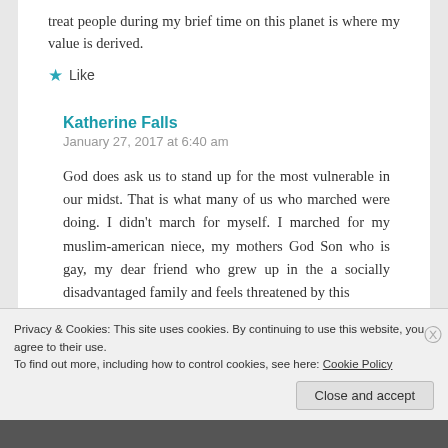treat people during my brief time on this planet is where my value is derived.
★ Like
Katherine Falls
January 27, 2017 at 6:40 am
God does ask us to stand up for the most vulnerable in our midst. That is what many of us who marched were doing. I didn't march for myself. I marched for my muslim-american niece, my mothers God Son who is gay, my dear friend who grew up in the a socially disadvantaged family and feels threatened by this
Privacy & Cookies: This site uses cookies. By continuing to use this website, you agree to their use.
To find out more, including how to control cookies, see here: Cookie Policy
Close and accept